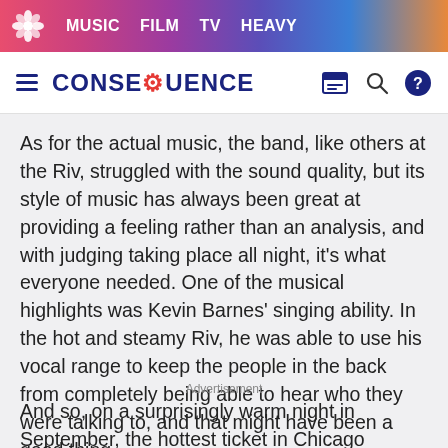MUSIC  FILM  TV  HEAVY
CONSEQUENCE
As for the actual music, the band, like others at the Riv, struggled with the sound quality, but its style of music has always been great at providing a feeling rather than an analysis, and with judging taking place all night, it's what everyone needed. One of the musical highlights was Kevin Barnes' singing ability. In the hot and steamy Riv, he was able to use his vocal range to keep the people in the back from completely being able to hear who they were talking to, and that might have been a good thing.
Advertisement
And so, on a surprisingly warm night in September, the hottest ticket in Chicago happened to be at an award show for advertising